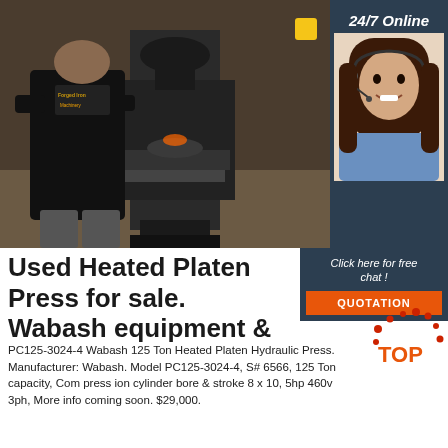[Figure (photo): Worker in black Forged Iron Machinery branded t-shirt operating a large industrial hydraulic press machine in a workshop setting]
[Figure (photo): 24/7 Online customer service representative - woman with dark hair wearing headset and blue shirt, smiling, on dark navy background with '24/7 Online' text]
Click here for free chat !
QUOTATION
Used Heated Platen Press for sale. Wabash equipment &
[Figure (logo): TOP logo - red dots arranged with 'TOP' text in orange/red]
PC125-3024-4 Wabash 125 Ton Heated Platen Hydraulic Press. Manufacturer: Wabash. Model PC125-3024-4, S# 6566, 125 Ton capacity, Com press ion cylinder bore & stroke 8 x 10, 5hp 460v 3ph, More info coming soon. $29,000.